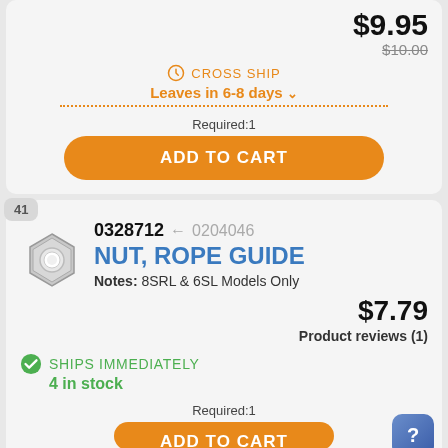$9.95
$10.00
CROSS SHIP Leaves in 6-8 days
Required:1
ADD TO CART
41
0328712 ← 0204046
[Figure (photo): A hexagonal metal nut, silver colored]
NUT, ROPE GUIDE
Notes: 8SRL & 6SL Models Only
$7.79
Product reviews (1)
SHIPS IMMEDIATELY
4 in stock
Required:1
ADD TO CART